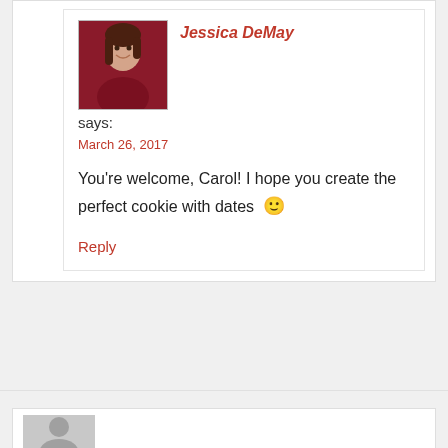[Figure (photo): Profile photo of Jessica DeMay, a young woman with brown hair wearing a dark red top, smiling]
Jessica DeMay
says:
March 26, 2017
You're welcome, Carol! I hope you create the perfect cookie with dates 🙂
Reply
[Figure (photo): Gray placeholder avatar silhouette for a commenter]